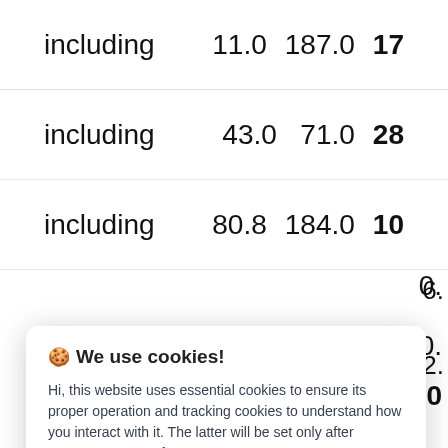| including | 11.0 | 187.0 | 17… |
| including | 43.0 | 71.0 | 28… |
| including | 80.8 | 184.0 | 10… |
🍪 We use cookies!

Hi, this website uses essential cookies to ensure its proper operation and tracking cookies to understand how you interact with it. The latter will be set only after consent. Let me choose

[Accept all] [Reject all]